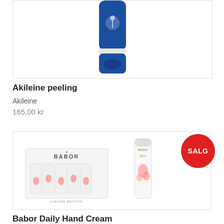[Figure (photo): Blue Akileine peeling product bottle, partially cropped at top]
Akileine peeling
Akileine
165,00 kr
[Figure (photo): Babor Daily Hand Cream product display box and single tube with floral design, SALG badge overlay]
Babor Daily Hand Cream
Babor
190,00 kr 175,00 kr
[Figure (photo): Partially visible product with silver lid at bottom of page]